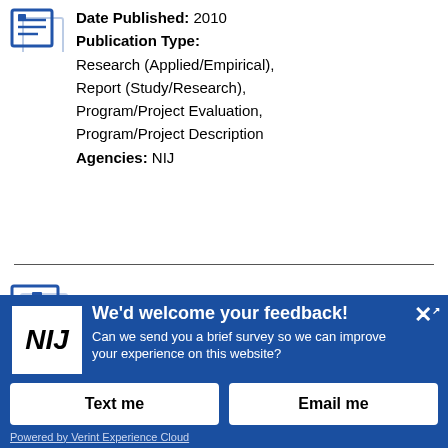Date Published: 2010
Publication Type:
Research (Applied/Empirical),
Report (Study/Research),
Program/Project Evaluation,
Program/Project Description
Agencies: NIJ
Use of Deadly Force by
We'd welcome your feedback! Can we send you a brief survey so we can improve your experience on this website?
Text me
Email me
Powered by Verint Experience Cloud